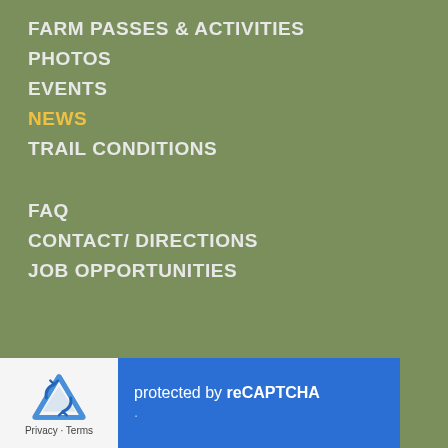FARM PASSES & ACTIVITIES
PHOTOS
EVENTS
NEWS
TRAIL CONDITIONS
FAQ
CONTACT/ DIRECTIONS
JOB OPPORTUNITIES
15 Farm View Drive
New Gloucester, ME 04260
(207) 688-4539
[Figure (photo): Two circular food images: one showing vegetables/salad with fork, another showing cheese slices]
Explore
Our
protected by reCAPTCHA